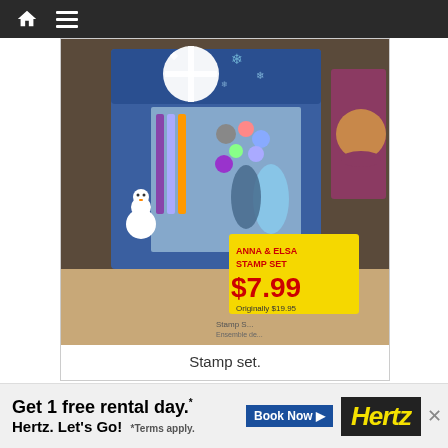Navigation bar with home and menu icons
[Figure (photo): Disney Frozen Anna & Elsa Stamp Set in packaging with snowflake decoration, price tag showing $7.99 (originally $19.95), Olaf the snowman visible on box, various stamp components visible through clear packaging]
Stamp set.
This Elsa figurine was originally $49.95, but now just $9.99 and they had a whole...whenever buyin...ALWAYS
[Figure (screenshot): Hertz advertisement banner: Get 1 free rental day.* Book Now. Hertz. Let's Go! *Terms apply.]